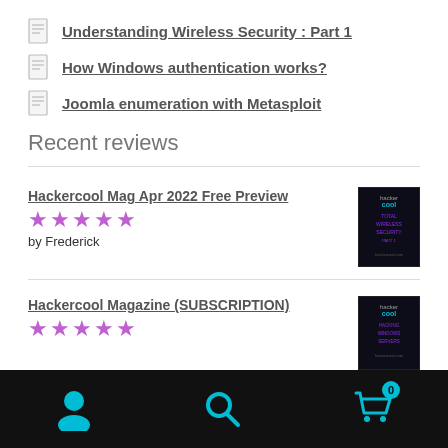Understanding Wireless Security : Part 1
How Windows authentication works?
Joomla enumeration with Metasploit
Recent reviews
Hackercool Mag Apr 2022 Free Preview
★★★★★
by Frederick
[Figure (photo): Hackercool Magazine April 2022 Free Preview cover image, dark background with purple/blue text]
Hackercool Magazine (SUBSCRIPTION)
★★★★★
[Figure (photo): Hackercool Magazine subscription cover image, dark background]
Navigation bar with user icon, search icon, and cart icon (0 items)